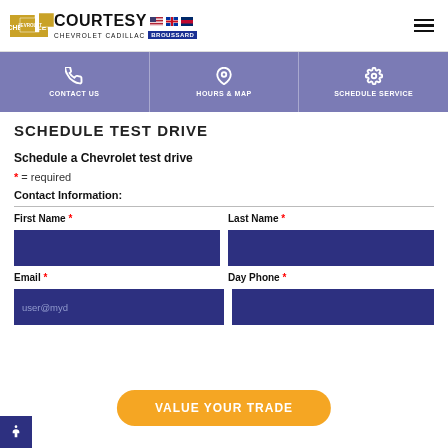Courtesy Chevrolet Cadillac Broussard
CONTACT US | HOURS & MAP | SCHEDULE SERVICE
SCHEDULE TEST DRIVE
Schedule a Chevrolet test drive
* = required
Contact Information:
First Name * | Last Name *
Email * | Day Phone *
user@myd...
VALUE YOUR TRADE